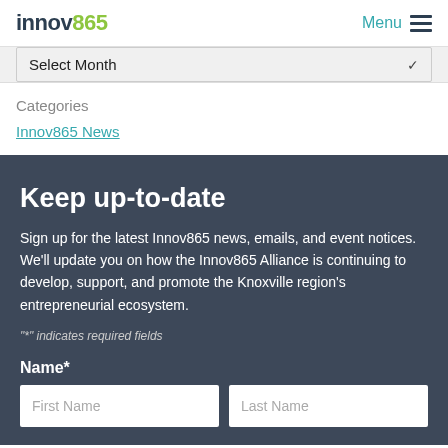innov865 | Menu
Select Month
Categories
Innov865 News
Keep up-to-date
Sign up for the latest Innov865 news, emails, and event notices. We'll update you on how the Innov865 Alliance is continuing to develop, support, and promote the Knoxville region's entrepreneurial ecosystem.
"*" indicates required fields
Name*
First Name
Last Name